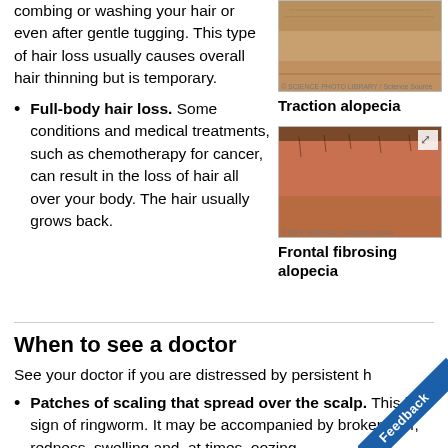combing or washing your hair or even after gentle tugging. This type of hair loss usually causes overall hair thinning but is temporary.
[Figure (photo): Close-up photo of a person's forehead/hairline showing traction alopecia — skin visible with sparse hair at hairline]
Traction alopecia
Full-body hair loss. Some conditions and medical treatments, such as chemotherapy for cancer, can result in the loss of hair all over your body. The hair usually grows back.
[Figure (photo): Close-up photo of the back of a person's scalp/neck showing frontal fibrosing alopecia — reddish skin with very sparse hair]
Frontal fibrosing alopecia
Patches of scaling that spread over the scalp. This is a sign of ringworm. It may be accompanied by broken hair, redness, swelling and, at times, oozing.
When to see a doctor
See your doctor if you are distressed by persistent h